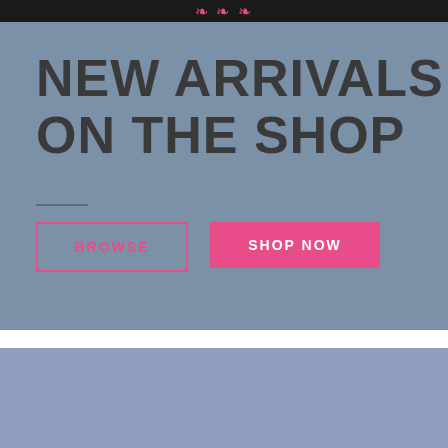❧❧❧
NEW ARRIVALS ON THE SHOP
BROWSE
SHOP NOW
[Figure (other): Solid periwinkle/slate-blue placeholder image block in the lower section of the page]